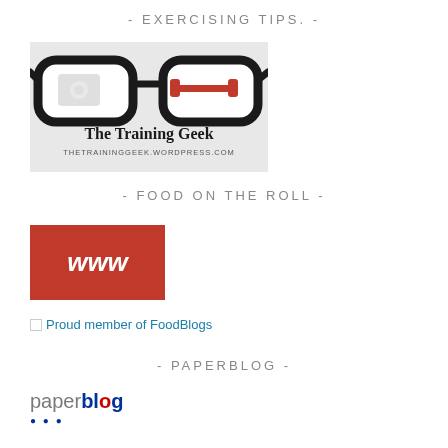- EXERCISING TIPS. -
[Figure (logo): The Training Geek logo with glasses, text 'The Training Geek' and 'THETRAININGGEEK.WORDPRESS.COM']
- FOOD ON THE ROLL -
[Figure (logo): Red rectangle with white italic bold 'www' text]
Proud member of FoodBlogs
- PAPERBLOG -
[Figure (logo): Paperblog logo with 'paper' in grey and 'blog' in dark blue bold, with dots beneath]